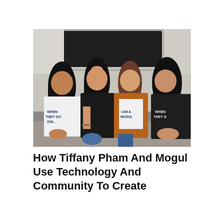[Figure (photo): Four young women sitting together and laughing. Three wear t-shirts with text: 'WHEN THEY GO OW...' (x2) and 'I AM A MOGUL'. One wears an orange/brown leather jacket. Background shows a dark window blind and light walls.]
How Tiffany Pham And Mogul Use Technology And Community To Create